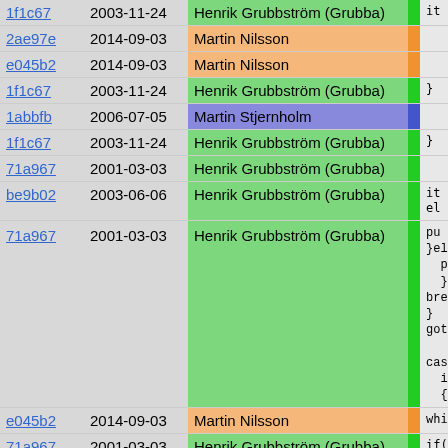| hash | date | author | code |
| --- | --- | --- | --- |
| 1f1c67 | 2003-11-24 | Henrik Grubbström (Grubba) | it |
| 2ae97e | 2014-09-03 | Martin Nilsson |  |
| e045b2 | 2014-09-03 | Martin Nilsson |  |
| 1f1c67 | 2003-11-24 | Henrik Grubbström (Grubba) | } |
| 1abbfb | 2006-07-05 | Martin Stjernholm |  |
| 1f1c67 | 2003-11-24 | Henrik Grubbström (Grubba) | } |
| 71a967 | 2001-03-03 | Henrik Grubbström (Grubba) |  |
| be9b02 | 2003-06-06 | Henrik Grubbström (Grubba) | it
el |
| 71a967 | 2001-03-03 | Henrik Grubbström (Grubba) | pu
}els
  pu
  }
brea
}
goto b

case 'f
  if(!st
  { |
| e045b2 | 2014-09-03 | Martin Nilsson | whi |
| 71a967 | 2001-03-03 | Henrik Grubbström (Grubba) | if( |